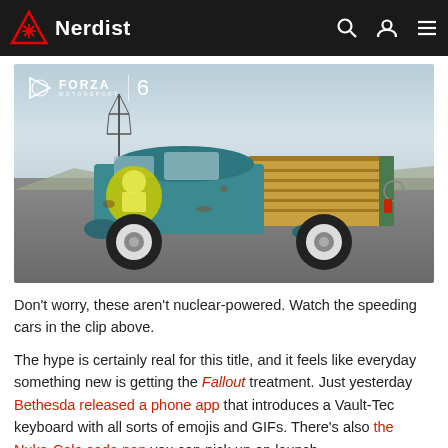Nerdist
[Figure (photo): Fallout-themed teal vintage pickup truck with Vault Boy decal on the door, wooden truck bed, photographed on an airstrip. Forza Motorsport 6 logo overlay in top-left corner.]
Don't worry, these aren't nuclear-powered. Watch the speeding cars in the clip above.
The hype is certainly real for this title, and it feels like everyday something new is getting the Fallout treatment. Just yesterday Bethesda released a phone app that introduces a Vault-Tec keyboard with all sorts of emojis and GIFs. There's also the Nuka-Cola soda pop you can pick up on launch...